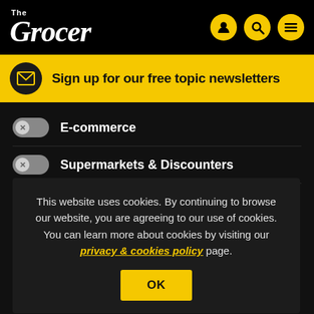The Grocer
Sign up for our free topic newsletters
E-commerce
Supermarkets & Discounters
Suppliers
This website uses cookies. By continuing to browse our website, you are agreeing to our use of cookies. You can learn more about cookies by visiting our privacy & cookies policy page.
OK
Sustainability and Environment